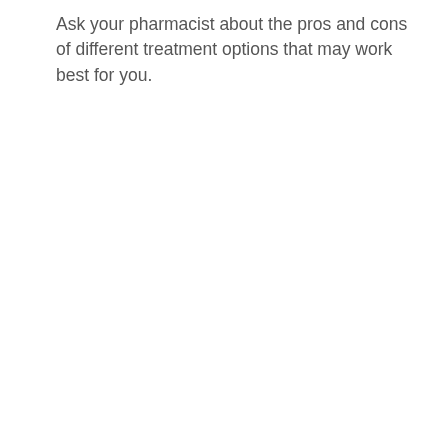Ask your pharmacist about the pros and cons of different treatment options that may work best for you.